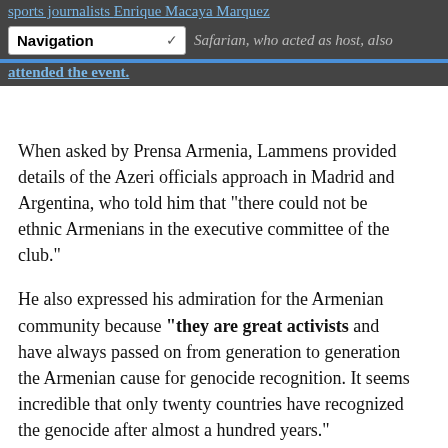sports journalists Enrique Macaya Marquez and Walter Safarian, who acted as host, also attended the event.
When asked by Prensa Armenia, Lammens provided details of the Azeri officials approach in Madrid and Argentina, who told him that "there could not be ethnic Armenians in the executive committee of the club."
He also expressed his admiration for the Armenian community because "they are great activists and have always passed on from generation to generation the Armenian cause for genocide recognition. It seems incredible that only twenty countries have recognized the genocide after almost a hundred years."
Walter Safarian explained that Azerbaijan tried to enter the Uruguayan club Peñarol,